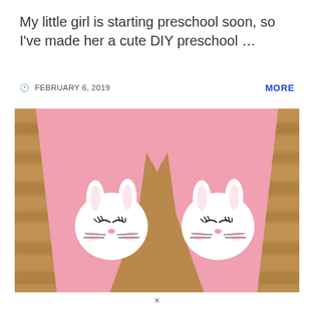My little girl is starting preschool soon, so I've made her a cute DIY preschool …
🕐 FEBRUARY 6, 2019
MORE
[Figure (photo): Pink children's leggings laid flat on a wooden surface, featuring white bunny face appliques with closed eyes and whiskers on each knee area.]